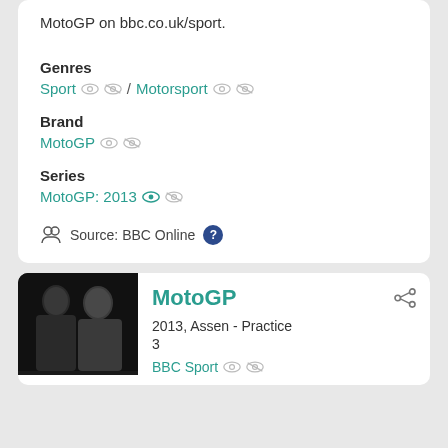MotoGP on bbc.co.uk/sport.
Genres
Sport / Motorsport
Brand
MotoGP
Series
MotoGP: 2013
Source: BBC Online
MotoGP
2013, Assen - Practice 3
BBC Sport